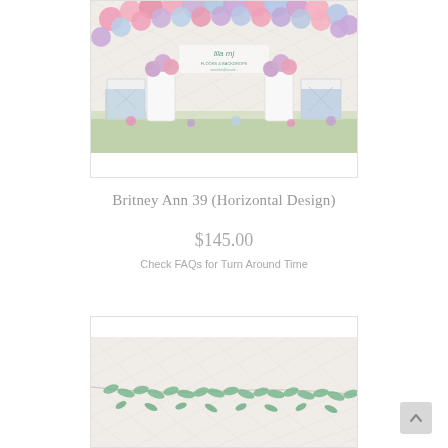[Figure (photo): Product photo of a floral and balloon backdrop design called Britney Ann 39 (Horizontal Design). Features pastel pink, blue, and purple balloons in an arch arrangement at the top, with white vases/containers holding purple and pink flowers below, and green moss/foliage along the base.]
Britney Ann 39 (Horizontal Design)
$145.00
Check FAQs for Turn Around Time
[Figure (photo): Second product photo (partial view) showing a white quilted/diamond-pattern backdrop with green eucalyptus garland draped across.]